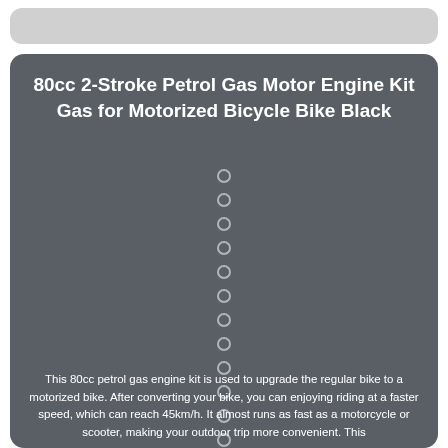80cc 2-Stroke Petrol Gas Motor Engine Kit Gas for Motorized Bicycle Bike Black
This 80cc petrol gas engine kit is used to upgrade the regular bike to a motorized bike. After converting your bike, you can enjoying riding at a faster speed, which can reach 45km/h. It almost runs as fast as a motorcycle or scooter, making your outdoor trip more convenient. This